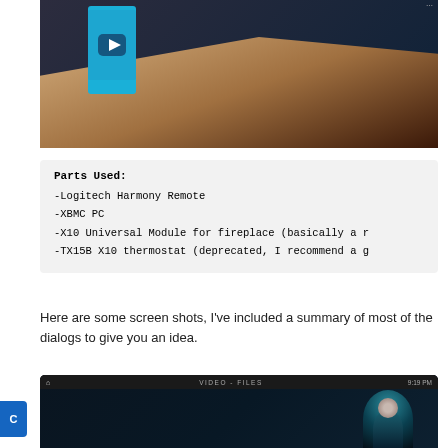[Figure (screenshot): Video thumbnail showing a hand holding a smartphone with a blue screen, with a YouTube-style play button overlay on a dark background]
Parts Used:
-Logitech Harmony Remote
-XBMC PC
-X10 Universal Module for fireplace (basically a r...
-TX15B X10 thermostat (deprecated, I recommend a g...
Here are some screen shots, I've included a summary of most of the dialogs to give you an idea.
[Figure (screenshot): Screenshot of XBMC media center showing VIDEO - FILES menu bar at top and a dark fantasy/sci-fi themed background with a female figure]